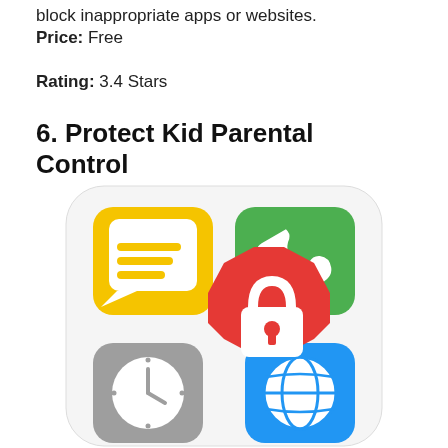block inappropriate apps or websites.
Price: Free
Rating: 3.4 Stars
6. Protect Kid Parental Control
[Figure (illustration): App icon for Protect Kid Parental Control showing four colored app icons (yellow messaging, green phone, gray clock, blue globe) with a red stop-sign shaped lock in the center foreground]